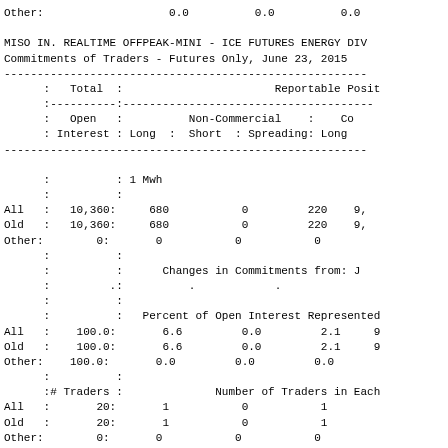|  | Total Open Interest | Non-Commercial Long | Non-Commercial Short | Non-Commercial Spreading | Commercial Long |
| --- | --- | --- | --- | --- | --- |
| Other: | 0.0 | 0.0 | 0.0 |  |  |
|  |  | 1 Mwh |  |  |  |
| All | 10,360: | 680 | 0 | 220 | 9, |
| Old | 10,360: | 680 | 0 | 220 | 9, |
| Other: | 0: | 0 | 0 | 0 |  |
|  |  | Changes in Commitments from: J |  |  |  |
|  |  | . | . | . |  |
|  |  | Percent of Open Interest Represented |  |  |  |
| All | 100.0: | 6.6 | 0.0 | 2.1 | 9 |
| Old | 100.0: | 6.6 | 0.0 | 2.1 | 9 |
| Other: | 100.0: | 0.0 | 0.0 | 0.0 |  |
| # Traders |  | Number of Traders in Each |  |  |  |
| All | 20: | 1 | 0 | 1 |  |
| Old | 20: | 1 | 0 | 1 |  |
| Other: | 0: | 0 | 0 | 0 |  |
|  |  | Percent of Open Interest Held by the |  |  |  |